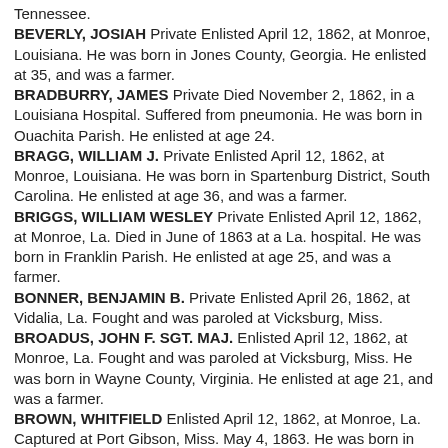Tennessee.
BEVERLY, JOSIAH Private Enlisted April 12, 1862, at Monroe, Louisiana. He was born in Jones County, Georgia. He enlisted at 35, and was a farmer.
BRADBURRY, JAMES Private Died November 2, 1862, in a Louisiana Hospital. Suffered from pneumonia. He was born in Ouachita Parish. He enlisted at age 24.
BRAGG, WILLIAM J. Private Enlisted April 12, 1862, at Monroe, Louisiana. He was born in Spartenburg District, South Carolina. He enlisted at age 36, and was a farmer.
BRIGGS, WILLIAM WESLEY Private Enlisted April 12, 1862, at Monroe, La. Died in June of 1863 at a La. hospital. He was born in Franklin Parish. He enlisted at age 25, and was a farmer.
BONNER, BENJAMIN B. Private Enlisted April 26, 1862, at Vidalia, La. Fought and was paroled at Vicksburg, Miss.
BROADUS, JOHN F. SGT. MAJ. Enlisted April 12, 1862, at Monroe, La. Fought and was paroled at Vicksburg, Miss. He was born in Wayne County, Virginia. He enlisted at age 21, and was a farmer.
BROWN, WHITFIELD Enlisted April 12, 1862, at Monroe, La. Captured at Port Gibson, Miss. May 4, 1863. He was born in Warren County, Mississippi. He enlisted at age 18, and wa...